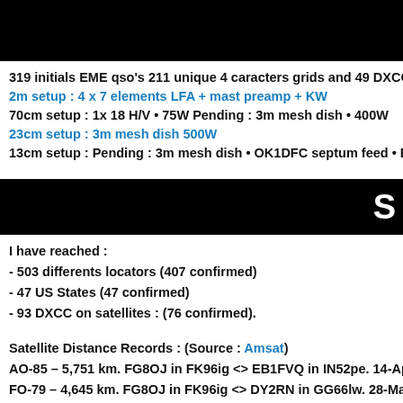[Figure (other): Black header bar at top of page]
319 initials EME qso's 211 unique 4 caracters grids and 49 DXCC
2m setup : 4 x 7 elements LFA + mast preamp + KW
70cm setup : 1x 18 H/V • 75W Pending : 3m mesh dish • 400W
23cm setup : 3m mesh dish 500W
13cm setup : Pending : 3m mesh dish • OK1DFC septum feed • E
[Figure (other): Black header bar with large white letter S on right side]
I have reached :
- 503 differents locators (407 confirmed)
- 47 US States (47 confirmed)
- 93 DXCC on satellites : (76 confirmed).
Satellite Distance Records : (Source : Amsat)
AO-85 – 5,751 km. FG8OJ in FK96ig <> EB1FVQ in IN52pe. 14-Ap
FO-79 – 4,645 km. FG8OJ in FK96ig <> DY2RN in GG66lw. 28-Ma